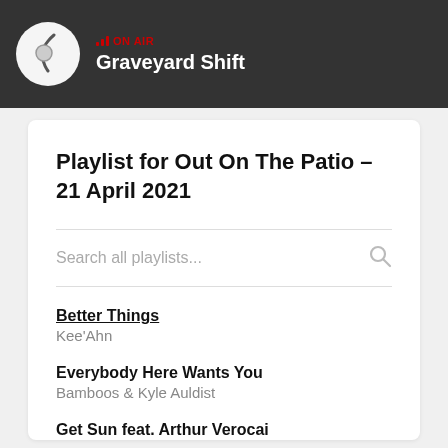ON AIR — Graveyard Shift
Playlist for Out On The Patio – 21 April 2021
Better Things — Kee'Ahn
Everybody Here Wants You — Bamboos & Kyle Auldist
Get Sun feat. Arthur Verocai — Hiatus Kaiyote
To The Island - Tame Impala remix